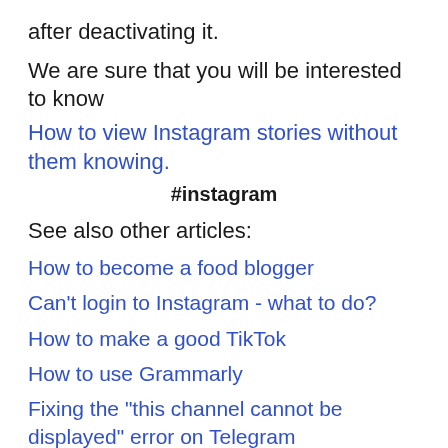after deactivating it.
We are sure that you will be interested to know
How to view Instagram stories without them knowing.
#instagram
See also other articles:
How to become a food blogger
Can't login to Instagram - what to do?
How to make a good TikTok
How to use Grammarly
Fixing the "this channel cannot be displayed" error on Telegram